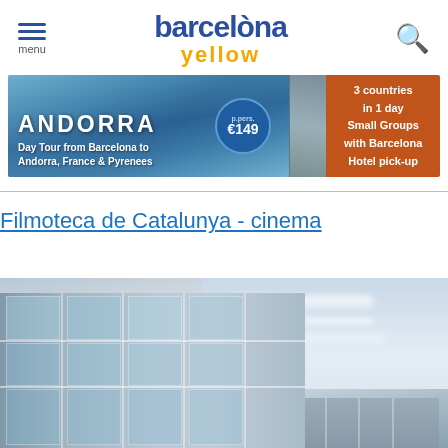barcelona yellow — navigation header with menu and search icons
[Figure (other): Advertisement banner for Andorra Day Tour from Barcelona. Text: ANDORRA, Day Tour from Barcelona to Andorra, France & Pyrenees, p.pers. €149, 3 countries in 1 day, Small Groups, with Barcelona Hotel pick-up]
Filmoteca de Catalunya - cinema
[Figure (photo): Exterior photo of Filmoteca de Catalunya building showing modern glass and steel facade with a cloudy sky in the background]